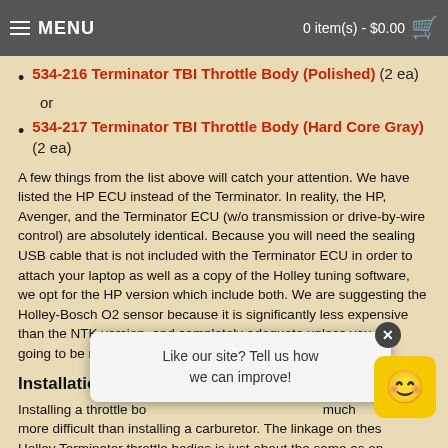MENU   0 item(s) - $0.00
534-216 Terminator TBI Throttle Body (Polished) (2 ea)
534-217 Terminator TBI Throttle Body (Hard Core Gray) (2 ea)
A few things from the list above will catch your attention. We have listed the HP ECU instead of the Terminator. In reality, the HP, Avenger, and the Terminator ECU (w/o transmission or drive-by-wire control) are absolutely identical. Because you will need the sealing USB cable that is not included with the Terminator ECU in order to attach your laptop as well as a copy of the Holley tuning software, we opt for the HP version which include both. We are suggesting the Holley-Bosch O2 sensor because it is significantly less expensive than the NTK version, and completely adequate unless you are going to be running racing fuel--if so, opt for the NTK.
Installation Overview
Installing a throttle body injection system is not too much more difficult than installing a carburetor. The linkage on these Holley Terminator throttle bodies is just about the same as on